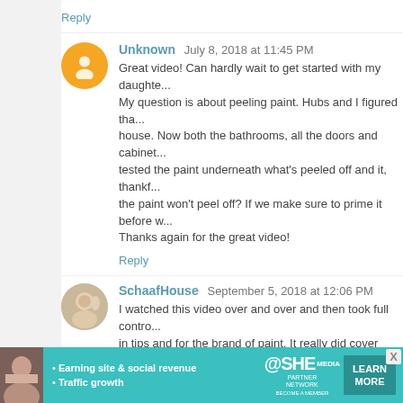Reply
Unknown  July 8, 2018 at 11:45 PM
Great video! Can hardly wait to get started with my daughte... My question is about peeling paint. Hubs and I figured tha... house. Now both the bathrooms, all the doors and cabinet... tested the paint underneath what's peeled off and it, thankf... the paint won't peel off? If we make sure to prime it before w... Thanks again for the great video!
Reply
SchaafHouse  September 5, 2018 at 12:06 PM
I watched this video over and over and then took full contro... in tips and for the brand of paint. It really did cover better t... Thanks guys!
Reply
DanaK ~ WaterPenny  July 20, 2019 at 5:01 PM
I have looked at this before but am buying our first h
[Figure (infographic): SHE Media Partner Network advertisement banner with teal background, woman photo, bullet points about Earning site & social revenue and Traffic growth, SHE logo, PARTNER NETWORK BECOME A MEMBER text, and LEARN MORE button]